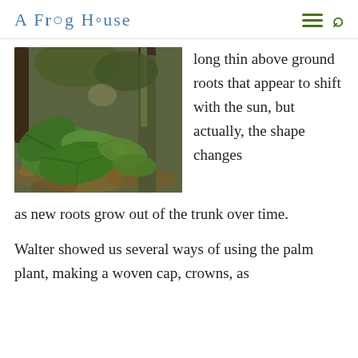A Frog House
[Figure (photo): Forest floor photo showing green tropical plants, ferns, and leaf litter with tree trunks and moss-covered bark in background]
long thin above ground roots that appear to shift with the sun, but actually, the shape changes as new roots grow out of the trunk over time.
Walter showed us several ways of using the palm plant, making a woven cap, crowns, as